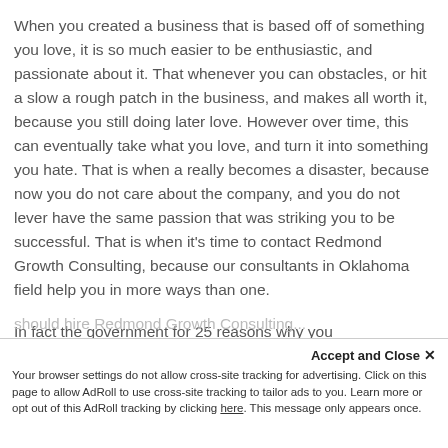When you created a business that is based off of something you love, it is so much easier to be enthusiastic, and passionate about it. That whenever you can obstacles, or hit a slow a rough patch in the business, and makes all worth it, because you still doing later love. However over time, this can eventually take what you love, and turn it into something you hate. That is when a really becomes a disaster, because now you do not care about the company, and you do not lever have the same passion that was striking you to be successful. That is when it's time to contact Redmond Growth Consulting, because our consultants in Oklahoma field help you in more ways than one.

In fact the government for 25 reasons why you
should hire Redmond Growth Consulting...
Accept and Close ✕ Your browser settings do not allow cross-site tracking for advertising. Click on this page to allow AdRoll to use cross-site tracking to tailor ads to you. Learn more or opt out of this AdRoll tracking by clicking here. This message only appears once.